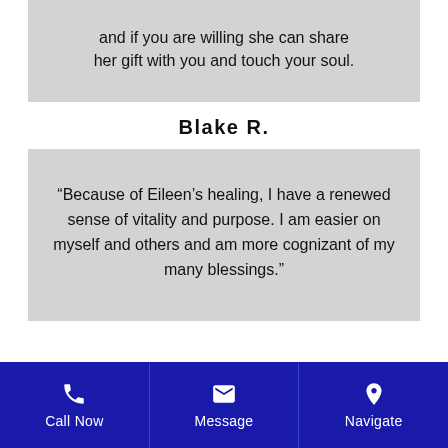and if you are willing she can share her gift with you and touch your soul.
Blake R.
“Because of Eileen’s healing, I have a renewed sense of vitality and purpose. I am easier on myself and others and am more cognizant of my many blessings.”
Call Now | Message | Navigate